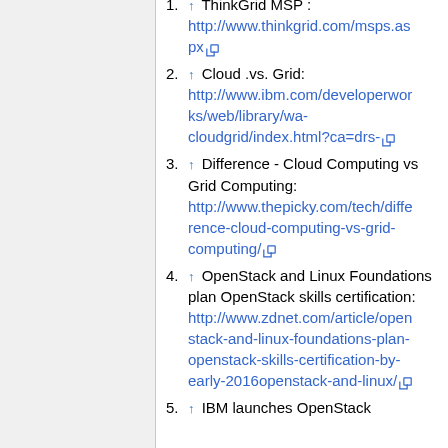1. ↑ ThinkGrid MSP: http://www.thinkgrid.com/msps.aspx
2. ↑ Cloud .vs. Grid: http://www.ibm.com/developerworks/web/library/wa-cloudgrid/index.html?ca=drs-
3. ↑ Difference - Cloud Computing vs Grid Computing: http://www.thepicky.com/tech/difference-cloud-computing-vs-grid-computing/
4. ↑ OpenStack and Linux Foundations plan OpenStack skills certification: http://www.zdnet.com/article/openstack-and-linux-foundations-plan-openstack-skills-certification-by-early-2016openstack-and-linux/
5. ↑ IBM launches OpenStack